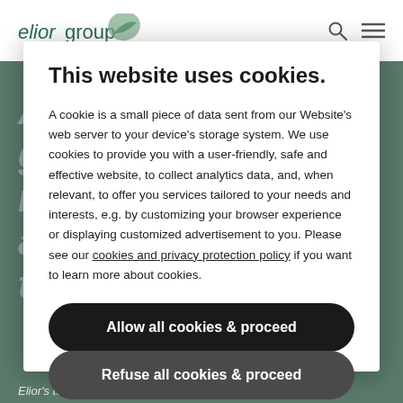[Figure (screenshot): Elior Group website header with logo, search icon, and hamburger menu icon on white background]
[Figure (photo): Green-tinted background image of food/hands with large italic white text overlay reading 'As a responsible group, we take part in societal, social and environmental transformation']
This website uses cookies.
A cookie is a small piece of data sent from our Website's web server to your device's storage system. We use cookies to provide you with a user-friendly, safe and effective website, to collect analytics data, and, when relevant, to offer you services tailored to your needs and interests, e.g. by customizing your browser experience or displaying customized advertisement to you. Please see our cookies and privacy protection policy if you want to learn more about cookies.
Allow all cookies & proceed
Refuse all cookies & proceed
Elior's teams serve nearly 4 million guests in five countries.